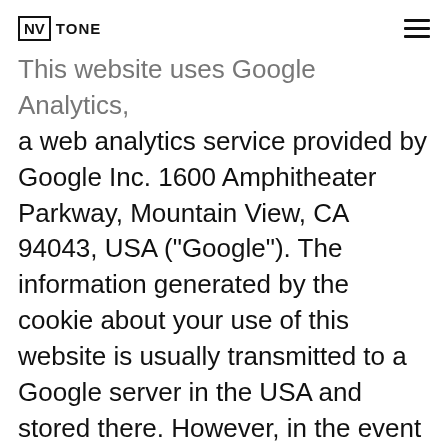NV TONE
This website uses Google Analytics, a web analytics service provided by Google Inc. 1600 Amphitheater Parkway, Mountain View, CA 94043, USA ("Google"). The information generated by the cookie about your use of this website is usually transmitted to a Google server in the USA and stored there. However, in the event of activation of IP anonymisation on this website, your IP address will be shortened beforehand by Google within